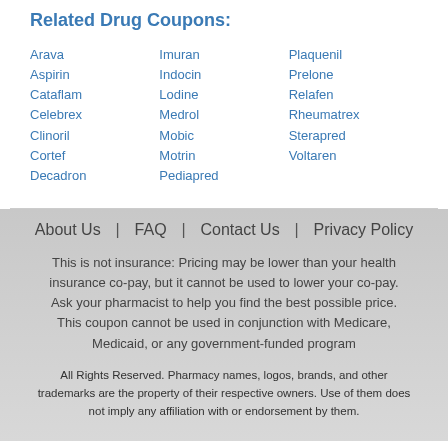Related Drug Coupons:
Arava
Aspirin
Cataflam
Celebrex
Clinoril
Cortef
Decadron
Imuran
Indocin
Lodine
Medrol
Mobic
Motrin
Pediapred
Plaquenil
Prelone
Relafen
Rheumatrex
Sterapred
Voltaren
About Us  |  FAQ  |  Contact Us  |  Privacy Policy
This is not insurance: Pricing may be lower than your health insurance co-pay, but it cannot be used to lower your co-pay. Ask your pharmacist to help you find the best possible price. This coupon cannot be used in conjunction with Medicare, Medicaid, or any government-funded program
All Rights Reserved. Pharmacy names, logos, brands, and other trademarks are the property of their respective owners. Use of them does not imply any affiliation with or endorsement by them.